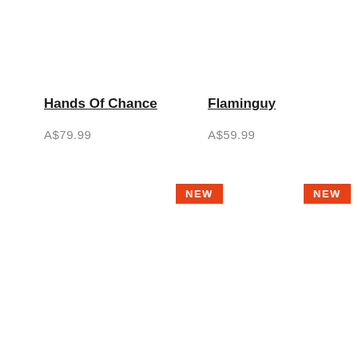Hands Of Chance
A$79.99
Flaminguy
A$59.99
NEW
NEW